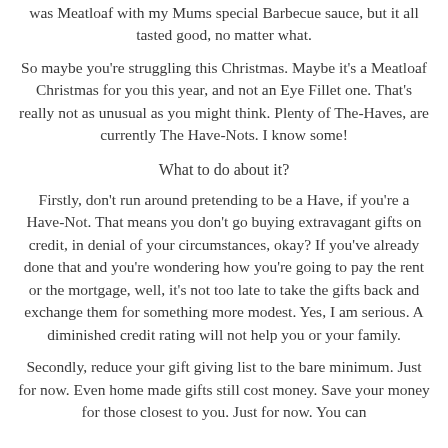was Meatloaf with my Mums special Barbecue sauce, but it all tasted good, no matter what.
So maybe you're struggling this Christmas. Maybe it's a Meatloaf Christmas for you this year, and not an Eye Fillet one. That's really not as unusual as you might think. Plenty of The-Haves, are currently The Have-Nots. I know some!
What to do about it?
Firstly, don't run around pretending to be a Have, if you're a Have-Not. That means you don't go buying extravagant gifts on credit, in denial of your circumstances, okay? If you've already done that and you're wondering how you're going to pay the rent or the mortgage, well, it's not too late to take the gifts back and exchange them for something more modest. Yes, I am serious. A diminished credit rating will not help you or your family.
Secondly, reduce your gift giving list to the bare minimum. Just for now. Even home made gifts still cost money. Save your money for those closest to you. Just for now. You can